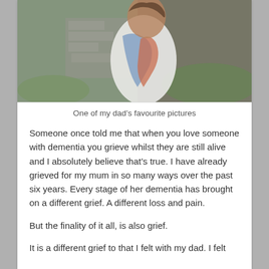[Figure (photo): A woman wearing a white top and a colourful blue and red scarf, photographed outdoors against a backdrop of stone ruins and green hillside. She is looking to the side. The image is cropped so only the torso and background are visible.]
One of my dad's favourite pictures
Someone once told me that when you love someone with dementia you grieve whilst they are still alive and I absolutely believe that's true. I have already grieved for my mum in so many ways over the past six years. Every stage of her dementia has brought on a different grief. A different loss and pain.
But the finality of it all, is also grief.
It is a different grief to that I felt with my dad. I felt